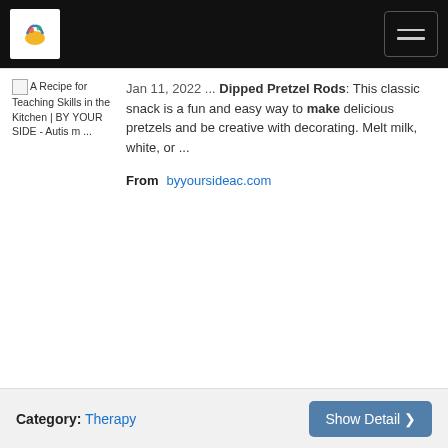BY YOUR SIDE - Autism (logo and navigation header)
[Figure (screenshot): Broken image placeholder for: A Recipe for Teaching Skills in the Kitchen | BY YOUR SIDE - Autism ...]
Jan 11, 2022 ... Dipped Pretzel Rods: This classic snack is a fun and easy way to make delicious pretzels and be creative with decorating. Melt milk, white, or ...
From   byyoursideac.com
Category: Therapy   Show Detail >